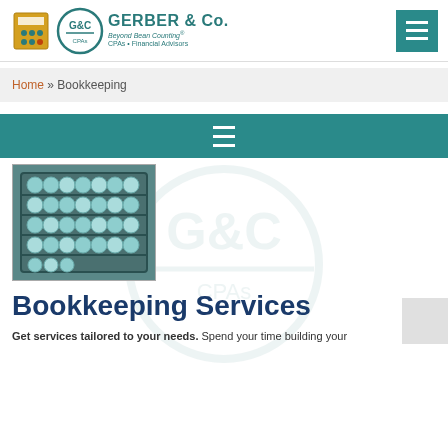[Figure (logo): Gerber & Co. CPAs and Financial Advisors logo with circular emblem and accounting icons]
Home » Bookkeeping
[Figure (other): Teal navigation bar with hamburger menu icon (three horizontal lines)]
[Figure (photo): Close-up photograph of an abacus with teal/blue beads]
Bookkeeping Services
Get services tailored to your needs. Spend your time building your